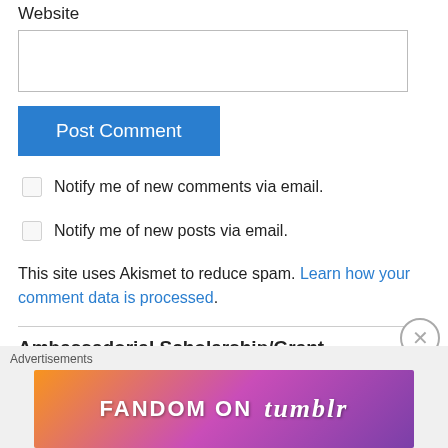Website
[Figure (screenshot): Empty text input field for Website URL]
Post Comment
Notify me of new comments via email.
Notify me of new posts via email.
This site uses Akismet to reduce spam. Learn how your comment data is processed.
Ambassadorial Scholarship/Grant
Advertisements
[Figure (illustration): Fandom on Tumblr advertisement banner with colorful gradient background]